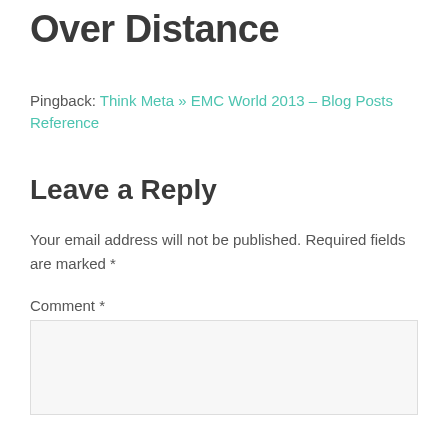Over Distance
Pingback: Think Meta » EMC World 2013 – Blog Posts Reference
Leave a Reply
Your email address will not be published. Required fields are marked *
Comment *